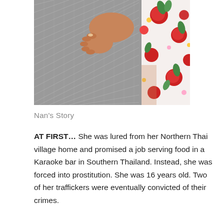[Figure (photo): Close-up photo of a child's hand gripping an adult's gray textured clothing, with a floral red and white garment visible on the right side. Background is gray fabric.]
Nan's Story
AT FIRST…  She was lured from her Northern Thai village home and promised a job serving food in a Karaoke bar in Southern Thailand.  Instead, she was forced into prostitution. She was 16 years old. Two of her traffickers were eventually convicted of their crimes.